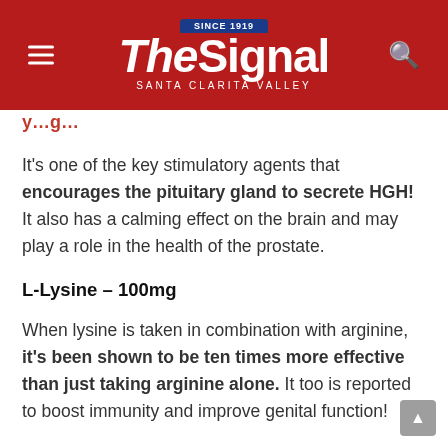The Signal — Santa Clarita Valley (Since 1919)
y...g...
It's one of the key stimulatory agents that encourages the pituitary gland to secrete HGH! It also has a calming effect on the brain and may play a role in the health of the prostate.
L-Lysine – 100mg
When lysine is taken in combination with arginine, it's been shown to be ten times more effective than just taking arginine alone. It too is reported to boost immunity and improve genital function!